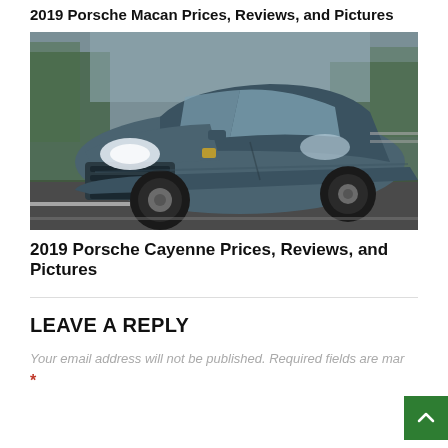2019 Porsche Macan Prices, Reviews, and Pictures
[Figure (photo): A dark blue-grey 2019 Porsche Cayenne SUV driving on a road with a blurred background of trees and road markings.]
2019 Porsche Cayenne Prices, Reviews, and Pictures
LEAVE A REPLY
Your email address will not be published. Required fields are mar
*